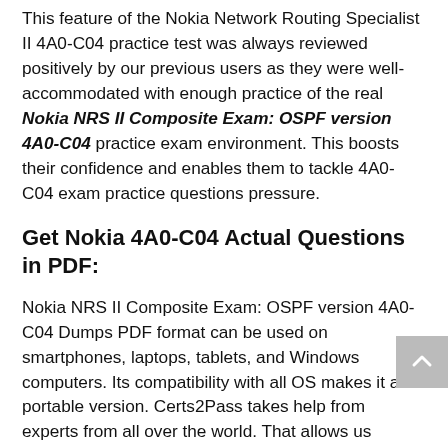This feature of the Nokia Network Routing Specialist II 4A0-C04 practice test was always reviewed positively by our previous users as they were well-accommodated with enough practice of the real Nokia NRS II Composite Exam: OSPF version 4A0-C04 practice exam environment. This boosts their confidence and enables them to tackle 4A0-C04 exam practice questions pressure.
Get Nokia 4A0-C04 Actual Questions in PDF:
Nokia NRS II Composite Exam: OSPF version 4A0-C04 Dumps PDF format can be used on smartphones, laptops, tablets, and Windows computers. Its compatibility with all OS makes it a portable version. Certs2Pass takes help from experts from all over the world. That allows us